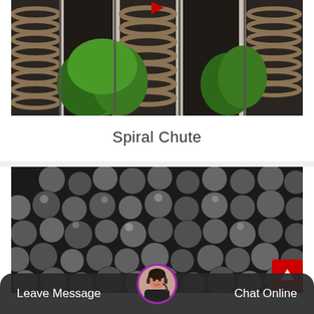[Figure (photo): Photo of large industrial spiral chutes with green trees visible in the background, industrial scaffolding structure]
Spiral Chute
[Figure (photo): Close-up photo of many dark metallic steel grinding balls/spheres piled together]
Leave Message
Chat Online